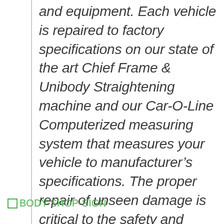and equipment. Each vehicle is repaired to factory specifications on our state of the art Chief Frame & Unibody Straightening machine and our Car-O-Line Computerized measuring system that measures your vehicle to manufacturer’s specifications. The proper repair of unseen damage is critical to the safety and performance of your vehicle.”
[Figure (other): Broken image placeholder labeled BODY-SHOP-SIGN in green text]